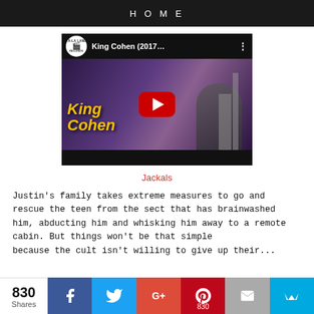HOME
[Figure (screenshot): YouTube video thumbnail for King Cohen (2017) showing a man posing in front of a city skyline with 'King Cohen' text in yellow on the left and a YouTube play button in the center. Channel logo 'LA-LA LAND RECORDS' visible in top bar.]
Jackals
Justin's family takes extreme measures to go and rescue the teen from the sect that has brainwashed him, abducting him and whisking him away to a remote cabin. But things won't be that simple because the cult isn't willing to give up their...
[Figure (infographic): Social share bar with 830 Shares count, Facebook (blue), Twitter (blue), Google+ (red-orange), Pinterest (red, 830), Email (gray), and Crown logo buttons.]